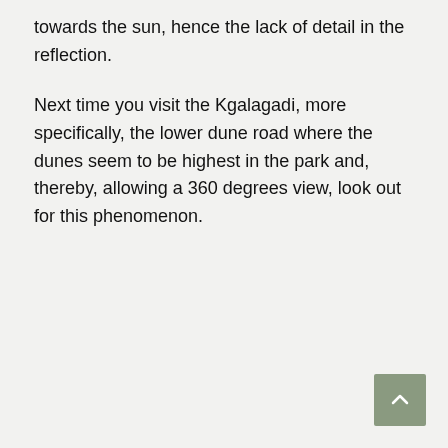towards the sun, hence the lack of detail in the reflection.
Next time you visit the Kgalagadi, more specifically, the lower dune road where the dunes seem to be highest in the park and, thereby, allowing a 360 degrees view, look out for this phenomenon.